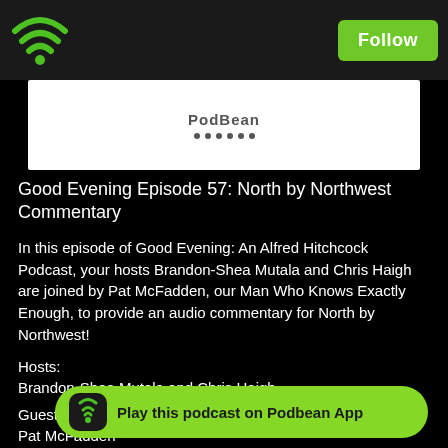[Figure (screenshot): PodBean app top bar with wifi/podcast icon on left and green Follow button on right]
[Figure (screenshot): PodBean banner with PodBean text and dots]
Good Evening Episode 57: North by Northwest Commentary
In this episode of Good Evening: An Alfred Hitchcock Podcast, your hosts Brandon-Shea Mutala and Chris Haigh are joined by Pat McFadden, our Man Who Knows Exactly Enough, to provide an audio commentary for North by Northwest!
Hosts:
Brandon-Shea Mutala and Chris Haigh
Guest:
Pat McFadden
Find us:
Twitter: @goodeveningpod @brandonmutala @higher_boy @TomCaldwell3000
Facebook
Email: goodeeningpodcast@hotmail.com
[Figure (screenshot): Green Play this podcast on Podbean App button at bottom]